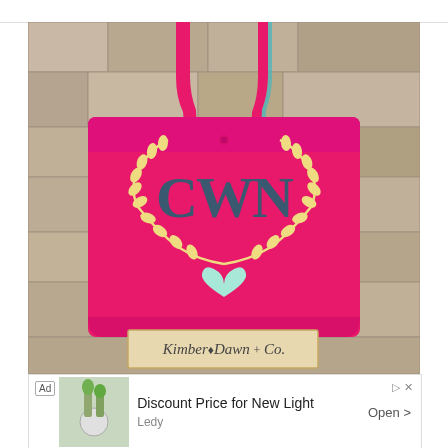[Figure (photo): A hot pink tote bag hanging against a stone wall. The bag features a monogram 'CWN' in dark teal/navy font surrounded by a laurel wreath design in cream/yellow with a mint green heart at the bottom. The bag has two pink straps with teal/turquoise accents on the inside. A wooden sign at the bottom reads 'Kimber Dawn + Co.']
Ad  Discount Price for New Light
Ledy   Open >